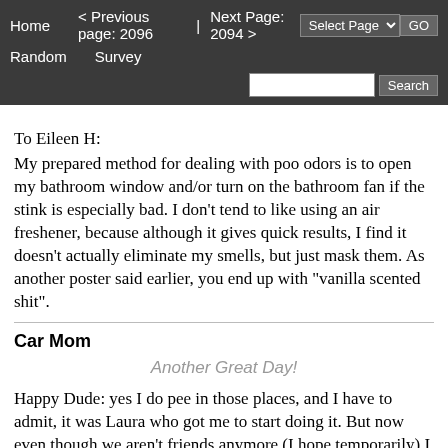Home   < Previous page: 2096  |  Next Page: 2094 >   Random   Survey   Select Page ▾  GO   Search
To Eileen H:
My prepared method for dealing with poo odors is to open my bathroom window and/or turn on the bathroom fan if the stink is especially bad. I don't tend to like using an air freshener, because although it gives quick results, I find it doesn't actually eliminate my smells, but just mask them. As another poster said earlier, you end up with "vanilla scented shit".
Car Mom
Another Great Day!
Happy Dude: yes I do pee in those places, and I have to admit, it was Laura who got me to start doing it. But now even though we aren't friends anymore (I hope temporarily) I still enjoy doing it. Lori is now the only one who I do it with on a regular basis. As for stories about it, they're here. Do a google search within this site